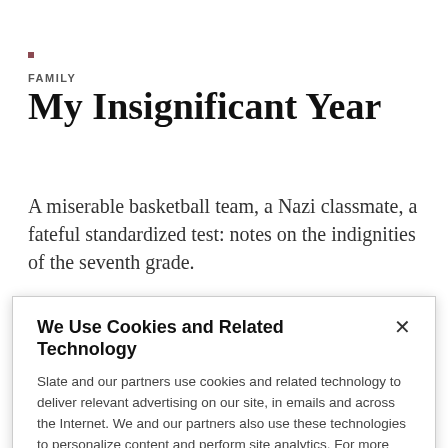FAMILY
My Insignificant Year
A miserable basketball team, a Nazi classmate, a fateful standardized test: notes on the indignities of the seventh grade.
BY STEPHEN TOBOLOWSKY
We Use Cookies and Related Technology
Slate and our partners use cookies and related technology to deliver relevant advertising on our site, in emails and across the Internet. We and our partners also use these technologies to personalize content and perform site analytics. For more information, see our terms and privacy policy.  Privacy Policy
OK